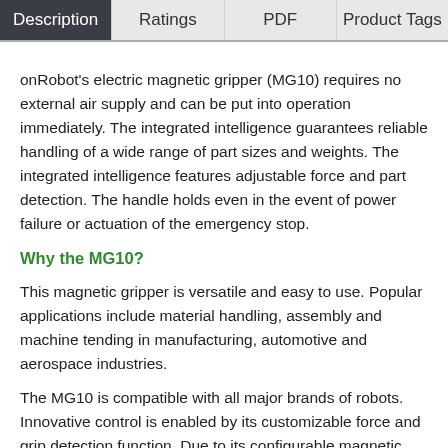Description | Ratings | PDF | Product Tags
onRobot's electric magnetic gripper (MG10) requires no external air supply and can be put into operation immediately. The integrated intelligence guarantees reliable handling of a wide range of part sizes and weights. The integrated intelligence features adjustable force and part detection. The handle holds even in the event of power failure or actuation of the emergency stop.
Why the MG10?
This magnetic gripper is versatile and easy to use. Popular applications include material handling, assembly and machine tending in manufacturing, automotive and aerospace industries.
The MG10 is compatible with all major brands of robots. Innovative control is enabled by its customizable force and grip detection function. Due to its configurable magnetic force, the MG10 can be adapted to difficult applications, such as stacking thin metal sheets. Thanks to the integrated proximity sensor, it detects whether pickup has occurred or failed. Multiple magnet configurations are available, which support applications that require reliable handling of large and/or heavy pieces. In addition, it has an integrated Quick Changer...